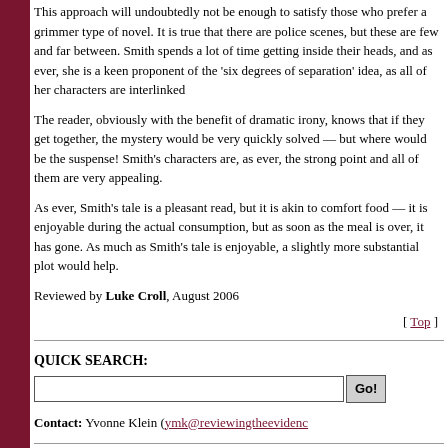This approach will undoubtedly not be enough to satisfy those who prefer a grimmer type of novel. It is true that there are police scenes, but these are few and far between. Smith spends a lot of time getting inside their heads, and as ever, she is a keen proponent of the 'six degrees of separation' idea, as all of her characters are interlinked
The reader, obviously with the benefit of dramatic irony, knows that if they get together, the mystery would be very quickly solved — but where would be the suspense! Smith's characters are, as ever, the strong point and all of them are very appealing.
As ever, Smith's tale is a pleasant read, but it is akin to comfort food — it is enjoyable during the actual consumption, but as soon as the meal is over, it has gone. As much as Smith's tale is enjoyable, a slightly more substantial plot would help.
Reviewed by Luke Croll, August 2006
[ Top ]
QUICK SEARCH:
Contact: Yvonne Klein (ymk@reviewingtheevidence...
[ About | Reviews | Search ] [ Home ]